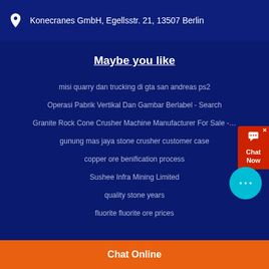Konecranes GmbH, Egellsstr. 21, 13507 Berlin
Maybe you like
misi quarry dan trucking di gta san andreas ps2
Operasi Pabrik Vertikal Dan Gambar Berlabel - Search
Granite Rock Cone Crusher Machine Manufacturer For Sale -…
gunung mas jaya stone crusher customer case
copper ore benification process
Sushee Infra Mining Limited
quality stone years
fluorite fluorite ore prices
Chat Online